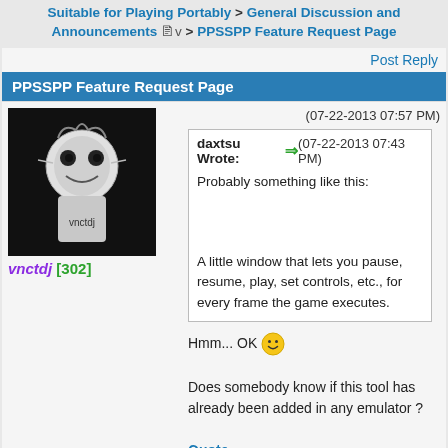Suitable for Playing Portably > General Discussion and Announcements v > PPSSPP Feature Request Page
Post Reply
PPSSPP Feature Request Page
(07-22-2013 07:57 PM)
vnctdj [302]
daxtsu Wrote: ➡ (07-22-2013 07:43 PM)
Probably something like this:

A little window that lets you pause, resume, play, set controls, etc., for every frame the game executes.
Hmm... OK 😀
Does somebody know if this tool has already been added in any emulator ?
Quote